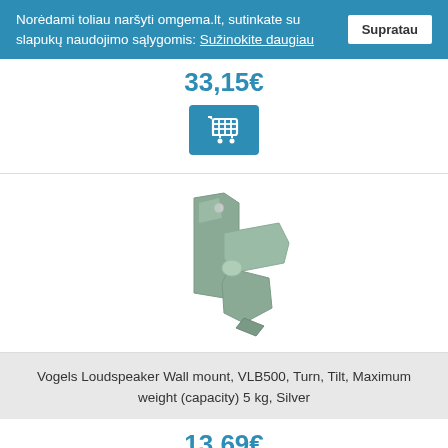Norėdami toliau naršyti omgema.lt, sutinkate su slapukų naudojimo sąlygomis: Sužinokite daugiau
33,15€
[Figure (illustration): Shopping cart icon on blue background button]
[Figure (photo): Vogels VLB500 loudspeaker wall mount bracket in silver color]
Vogels Loudspeaker Wall mount, VLB500, Turn, Tilt, Maximum weight (capacity) 5 kg, Silver
13,69€